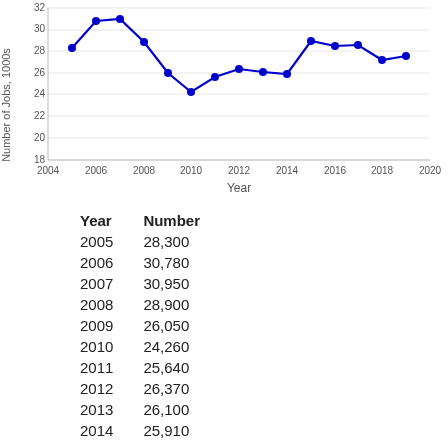[Figure (line-chart): ]
| Year | Number |
| --- | --- |
| 2005 | 28,300 |
| 2006 | 30,780 |
| 2007 | 30,950 |
| 2008 | 28,900 |
| 2009 | 26,050 |
| 2010 | 24,260 |
| 2011 | 25,640 |
| 2012 | 26,370 |
| 2013 | 26,100 |
| 2014 | 25,910 |